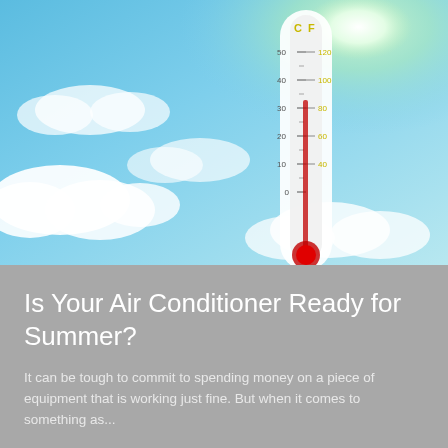[Figure (photo): A large thermometer showing Celsius and Fahrenheit scales against a bright blue sky with white clouds and a glowing green-white sun in the upper right. The thermometer reads approximately 40°C / 100°F. The sky background features fluffy cumulus clouds.]
Is Your Air Conditioner Ready for Summer?
It can be tough to commit to spending money on a piece of equipment that is working just fine. But when it comes to something as...